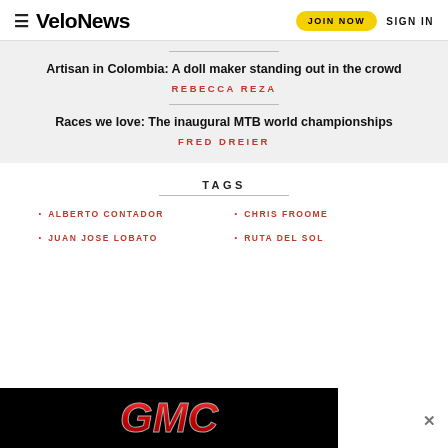VeloNews | JOIN NOW | SIGN IN
Artisan in Colombia: A doll maker standing out in the crowd
REBECCA REZA
Races we love: The inaugural MTB world championships
FRED DREIER
TAGS
ALBERTO CONTADOR
CHRIS FROOME
JUAN JOSE LOBATO
RUTA DEL SOL
[Figure (logo): GMC advertisement banner with red GMC logo on black background]